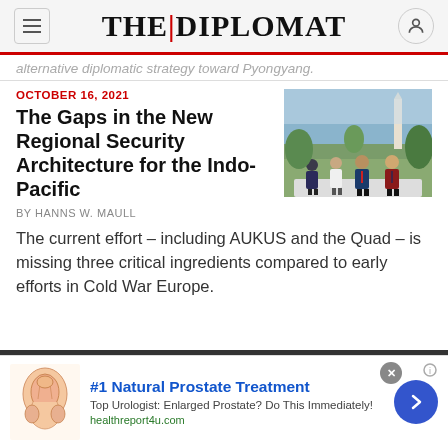THE DIPLOMAT
alternative diplomatic strategy toward Pyongyang.
OCTOBER 16, 2021
The Gaps in the New Regional Security Architecture for the Indo-Pacific
By HANNS W. MAULL
[Figure (photo): Four men in suits standing outdoors, likely at the White House, with a monument visible in the background.]
The current effort – including AUKUS and the Quad – is missing three critical ingredients compared to early efforts in Cold War Europe.
#1 Natural Prostate Treatment
Top Urologist: Enlarged Prostate? Do This Immediately!
healthreport4u.com